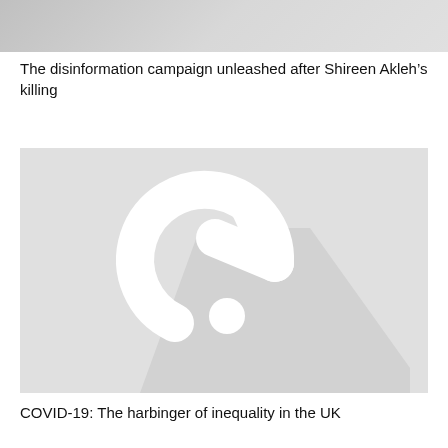[Figure (illustration): Placeholder image with grey gradient background]
The disinformation campaign unleashed after Shireen Akleh’s killing
[Figure (illustration): Al Jazeera logo placeholder image on light grey background with shadow effect]
COVID-19: The harbinger of inequality in the UK